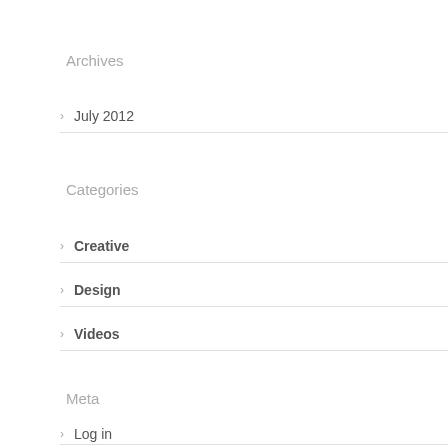Archives
July 2012
Categories
Creative
Design
Videos
Meta
Log in